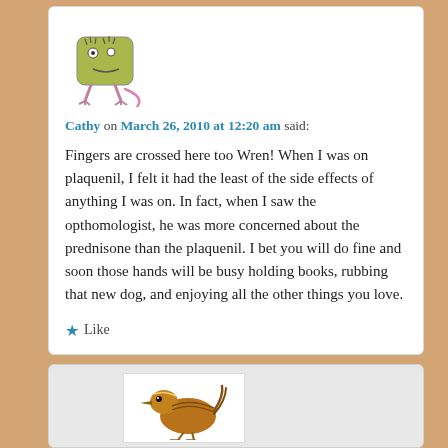[Figure (illustration): Cartoon avatar of a green boxy character with stick legs and a pink tail]
Cathy on March 26, 2010 at 12:20 am said:
Fingers are crossed here too Wren! When I was on plaquenil, I felt it had the least of the side effects of anything I was on. In fact, when I saw the opthomologist, he was more concerned about the prednisone than the plaquenil. I bet you will do fine and soon those hands will be busy holding books, rubbing that new dog, and enjoying all the other things you love.
★ Like
[Figure (illustration): Illustration of a small brown wren bird]